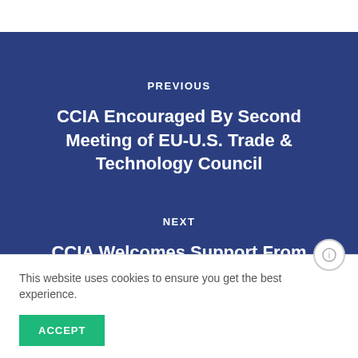PREVIOUS
CCIA Encouraged By Second Meeting of EU-U.S. Trade & Technology Council
NEXT
CCIA Welcomes Support From Diverse Group of 38 Organizations
This website uses cookies to ensure you get the best experience.